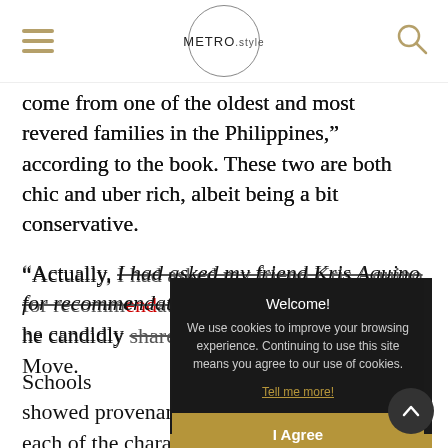METRO.style
come from one of the oldest and most revered families in the Philippines," according to the book. These two are both chic and uber rich, albeit being a bit conservative.
"Actually, I had asked my friend Kris Aquino for recommendations, and she gave me hers," he candidly shared on the Move.
[Figure (screenshot): Cookie consent overlay with dark background. Title: 'Welcome!' Body: 'We use cookies to improve your browsing experience. Continuing to use this site means you agree to our use of cookies.' Link: 'Tell me more!' Button: 'I Agree']
Schools immediately showed provenance and the background of each of the characters, and thus Kevin used the enumeration of schools as a tongue-in-cheek literary device, and a means to make light of this compulsion to always check credentials.